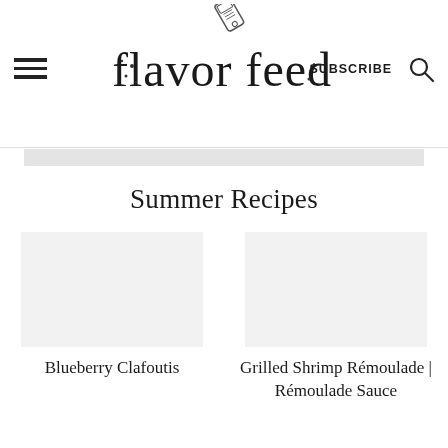flavor feed — SUBSCRIBE
Summer Recipes
Blueberry Clafoutis
Grilled Shrimp Rémoulade | Rémoulade Sauce